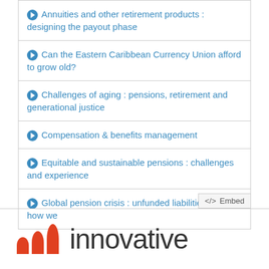Annuities and other retirement products : designing the payout phase
Can the Eastern Caribbean Currency Union afford to grow old?
Challenges of aging : pensions, retirement and generational justice
Compensation & benefits management
Equitable and sustainable pensions : challenges and experience
Global pension crisis : unfunded liabilities and how we
</> Embed
[Figure (logo): Innovative logo with three orange circular-top bars of increasing height and the word 'innovative' in large grey text]